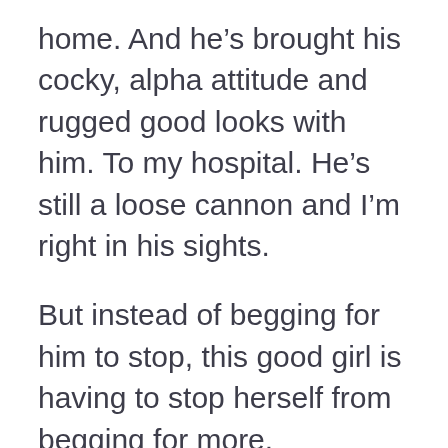home. And he’s brought his cocky, alpha attitude and rugged good looks with him. To my hospital. He’s still a loose cannon and I’m right in his sights.
But instead of begging for him to stop, this good girl is having to stop herself from begging for more.
I thought I put my obsession with this moody bad boy to